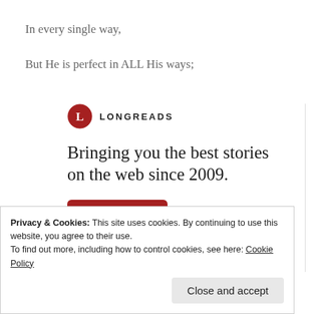In every single way,
But He is perfect in ALL His ways;
[Figure (logo): Longreads logo: red circle with white letter L, followed by LONGREADS in bold caps]
Bringing you the best stories on the web since 2009.
Start reading
Privacy & Cookies: This site uses cookies. By continuing to use this website, you agree to their use.
To find out more, including how to control cookies, see here: Cookie Policy
Close and accept